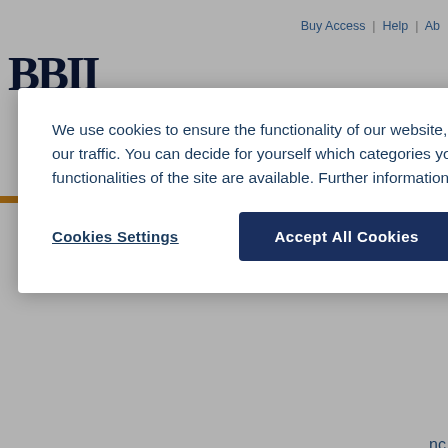Buy Access | Help | Ab
[Figure (screenshot): Partial BDI logo letters visible in top left]
We use cookies to ensure the functionality of our website, to personalize content, to provide social media features, and to analyze our traffic. You can decide for yourself which categories you want to deny or allow. Please note that based on your settings not all functionalities of the site are available. Further information can be found in our privacy policy. Privacy Statement
Cookies Settings
Accept All Cookies
Search
Your search for 'dc_creator:( "Ug dc_contributor:( "Uggeri, Giova results. Modify search
Sort Results by Relevance | Newe